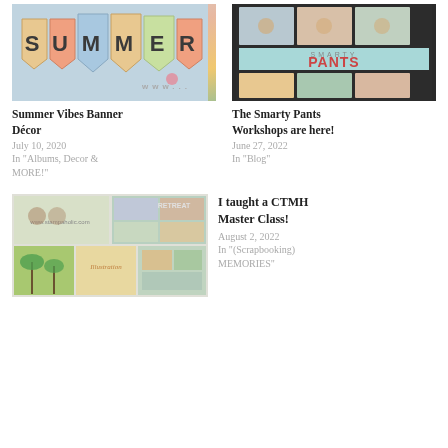[Figure (photo): Summer Vibes Banner Décor image showing colorful pennant banners with letters spelling SUMMER]
Summer Vibes Banner Décor
July 10, 2020
In "Albums, Decor & MORE!"
[Figure (photo): The Smarty Pants Workshops collage with colorful scrapbook layouts and Smarty Pants branding]
The Smarty Pants Workshops are here!
June 27, 2022
In "Blog"
[Figure (photo): I taught a CTMH Master Class collage with scrapbook pages and craft photos]
I taught a CTMH Master Class!
August 2, 2022
In "(Scrapbooking) MEMORIES"